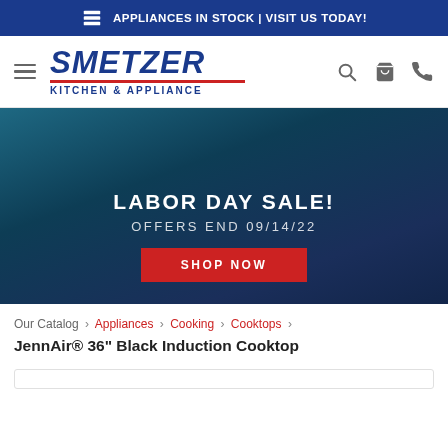APPLIANCES IN STOCK | VISIT US TODAY!
[Figure (logo): Smetzer Kitchen & Appliance logo with hamburger menu, search, cart, and phone icons]
[Figure (infographic): Labor Day Sale hero banner with dark blue gradient background, text: LABOR DAY SALE!, OFFERS END 09/14/22, and a red SHOP NOW button]
Our Catalog › Appliances › Cooking › Cooktops ›
JennAir® 36" Black Induction Cooktop